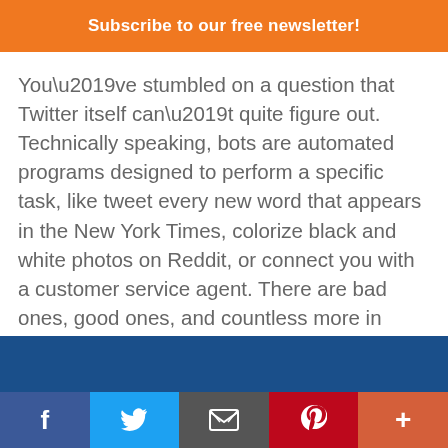Subscribe to our free newsletter!
You’ve stumbled on a question that Twitter itself can’t quite figure out. Technically speaking, bots are automated programs designed to perform a specific task, like tweet every new word that appears in the New York Times, colorize black and white photos on Reddit, or connect you with a customer service agent. There are bad ones, good ones, and countless more in between. Bots are often associated with sites like